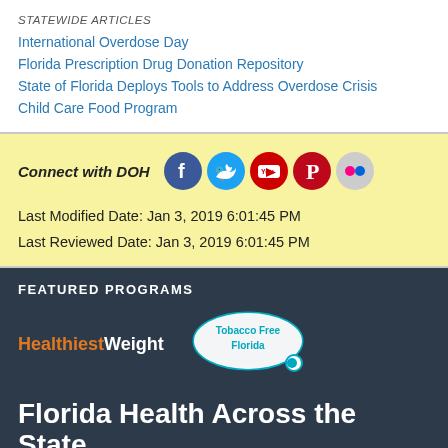STATEWIDE ARTICLES
International Overdose Day
Florida Prescription Drug Donation Repository
State of Florida Deploys Tools to Address Overdose Crisis
Child Care Food Program
Connect with DOH
[Figure (logo): Social media icons: Facebook, Twitter, YouTube, Pinterest, Flickr]
Last Modified Date: Jan 3, 2019 6:01:45 PM
Last Reviewed Date: Jan 3, 2019 6:01:45 PM
FEATURED PROGRAMS
[Figure (logo): Healthiest Weight Florida logo and Tobacco Free Florida logo]
Florida Health Across the State